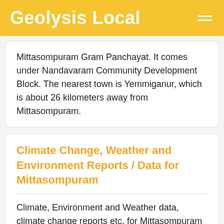Geolysis Local
Mittasompuram Gram Panchayat. It comes under Nandavaram Community Development Block. The nearest town is Yemmiganur, which is about 26 kilometers away from Mittasompuram.
Climate Change, Weather and Environment Reports / Data for Mittasompuram
Climate, Environment and Weather data, climate change reports etc. for Mittasompuram is available as professional paid service. You may contact us for further details and sample data.
A brief summary of available data for Mittasompuram